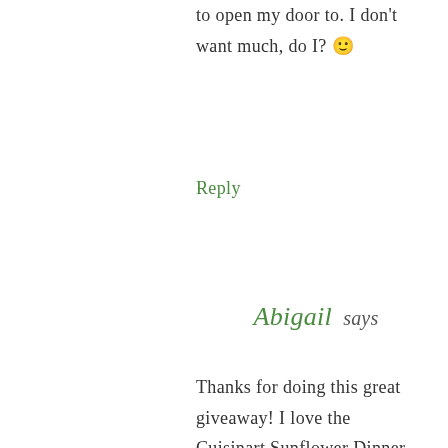to open my door to. I don't want much, do I? 🙂
Reply
Abigail says
Thanks for doing this great giveaway! I love the Cuisinart Sunflower Dinner Collection over at CSN. so pretty! 🙂